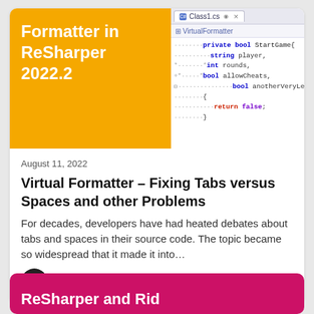[Figure (screenshot): Screenshot of an IDE (ReSharper) showing C# code in Class1.cs with a method StartGame containing parameters: string player, int rounds, bool allowCheats, bool anotherVeryLenghty. The code shows return false inside curly braces.]
Formatter in ReSharper 2022.2
August 11, 2022
Virtual Formatter – Fixing Tabs versus Spaces and other Problems
For decades, developers have had heated debates about tabs and spaces in their source code. The topic became so widespread that it made it into…
Matthias Koch
7
ReSharper and Rid